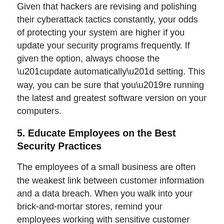Given that hackers are revising and polishing their cyberattack tactics constantly, your odds of protecting your system are higher if you update your security programs frequently. If given the option, always choose the “update automatically” setting. This way, you can be sure that you’re running the latest and greatest software version on your computers.
5. Educate Employees on the Best Security Practices
The employees of a small business are often the weakest link between customer information and a data breach. When you walk into your brick-and-mortar stores, remind your employees working with sensitive customer data to lock their workstations whenever they go on break.
What’s more, create and enforce a clean desk policy on your business establishments. The reason is that employees may scribble down passwords and other data